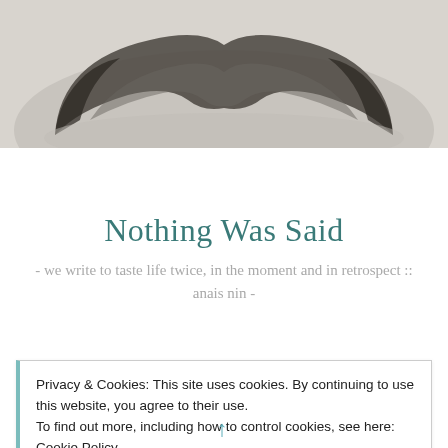[Figure (photo): Close-up black and white photograph of a person's upper lip and mustache area, grayscale]
Nothing Was Said
- we write to taste life twice, in the moment and in retrospect :: anais nin -
Privacy & Cookies: This site uses cookies. By continuing to use this website, you agree to their use.
To find out more, including how to control cookies, see here: Cookie Policy
Close and accept